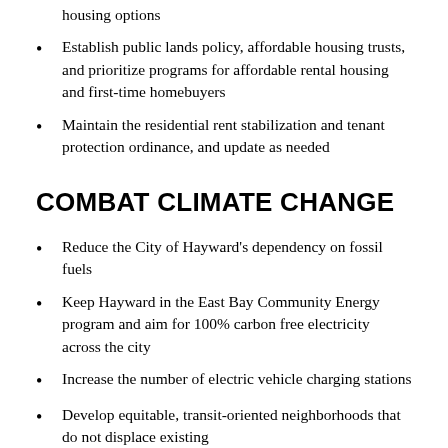housing options
Establish public lands policy, affordable housing trusts, and prioritize programs for affordable rental housing and first-time homebuyers
Maintain the residential rent stabilization and tenant protection ordinance, and update as needed
COMBAT CLIMATE CHANGE
Reduce the City of Hayward's dependency on fossil fuels
Keep Hayward in the East Bay Community Energy program and aim for 100% carbon free electricity across the city
Increase the number of electric vehicle charging stations
Develop equitable, transit-oriented neighborhoods that do not displace existing